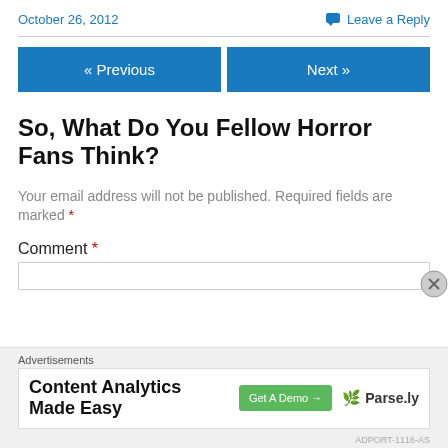October 26, 2012
Leave a Reply
« Previous
Next »
So, What Do You Fellow Horror Fans Think?
Your email address will not be published. Required fields are marked *
Comment *
[Figure (screenshot): Advertisement banner: Content Analytics Made Easy — Get A Demo button — Parse.ly logo]